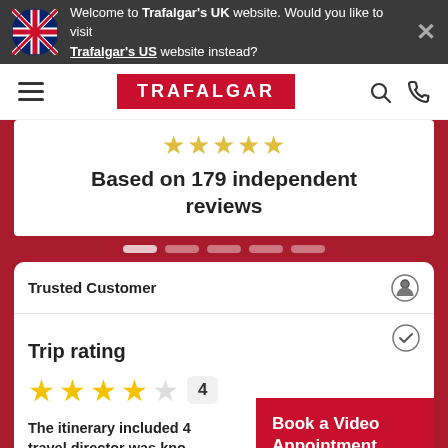Welcome to Trafalgar's UK website. Would you like to visit Trafalgar's US website instead?
[Figure (logo): Trafalgar travel company logo in red box with white text TRAFALGAR]
Based on 179 independent reviews
Trusted Customer
Trip rating
4
The itinerary included 4... travel director was kno...
Book a Video Appointment